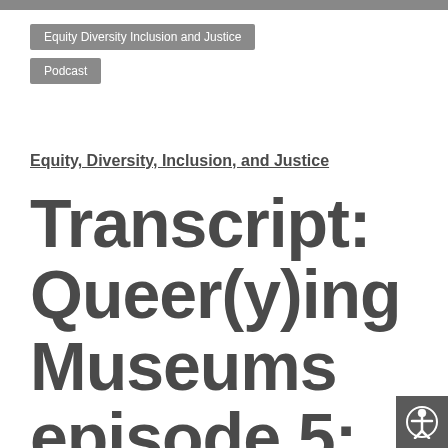Equity Diversity Inclusion and Justice
Podcast
Equity, Diversity, Inclusion, and Justice
Transcript: Queer(y)ing Museums episode 5: